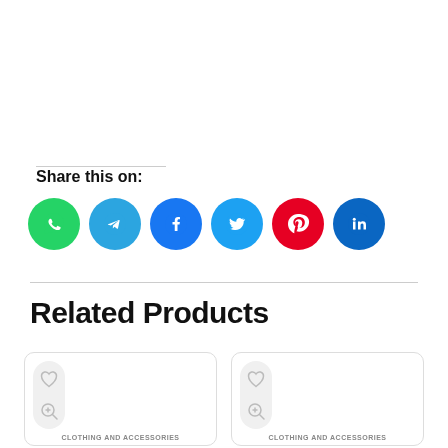Share this on:
[Figure (infographic): Row of six social media share buttons: WhatsApp (green), Telegram (blue), Facebook (blue), Twitter (cyan), Pinterest (red), LinkedIn (dark blue)]
Related Products
[Figure (infographic): Two product cards side by side, each showing a heart (wishlist) icon and a magnify (zoom) icon on the left, and a category label 'CLOTHING AND ACCESSORIES' at the bottom]